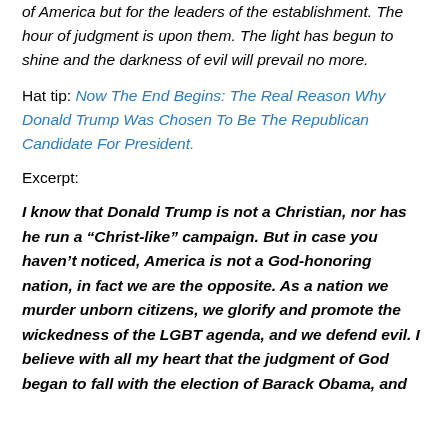of America but for the leaders of the establishment. The hour of judgment is upon them. The light has begun to shine and the darkness of evil will prevail no more.
Hat tip: Now The End Begins: The Real Reason Why Donald Trump Was Chosen To Be The Republican Candidate For President.
Excerpt:
I know that Donald Trump is not a Christian, nor has he run a “Christ-like” campaign. But in case you haven’t noticed, America is not a God-honoring nation, in fact we are the opposite. As a nation we murder unborn citizens, we glorify and promote the wickedness of the LGBT agenda, and we defend evil. I believe with all my heart that the judgment of God began to fall with the election of Barack Obama, and